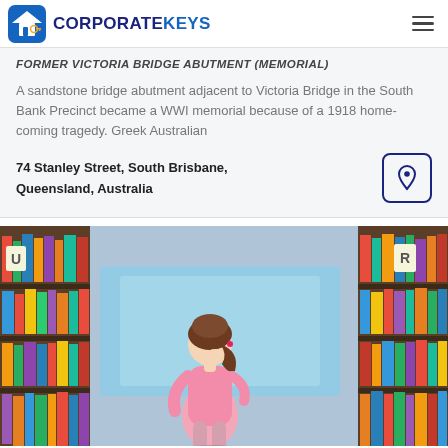CORPORATEKEYS
FORMER VICTORIA BRIDGE ABUTMENT (MEMORIAL)
A sandstone bridge abutment adjacent to Victoria Bridge in the South Bank Precinct became a WWI memorial because of a 1918 home-coming tragedy. Greek Australian
74 Stanley Street, South Brisbane, Queensland, Australia
[Figure (photo): A young girl with brown hair in a ponytail wearing a pink shirt, standing in a library aisle between bookshelves, looking down. Library shelves with colorful books and a light blue partition visible in the background.]